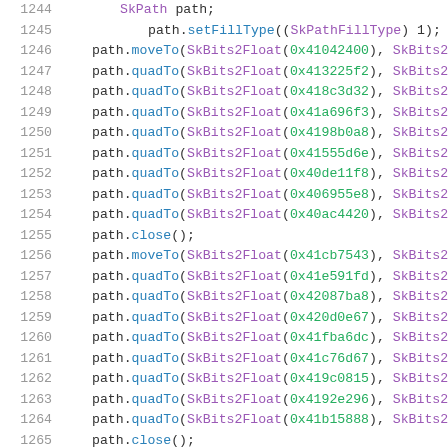Source code listing showing path drawing operations (lines 1244-1265) using SkPath API with SkBits2Float hex values